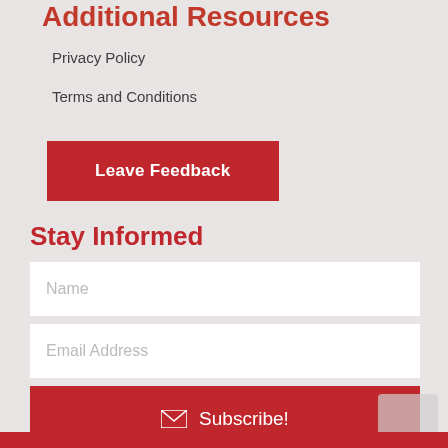Additional Resources
Privacy Policy
Terms and Conditions
[Figure (other): Red 'Leave Feedback' button]
Stay Informed
[Figure (other): Name input field with placeholder 'Name']
[Figure (other): Email Address input field with placeholder 'Email Address']
[Figure (other): Red Subscribe button with envelope icon]